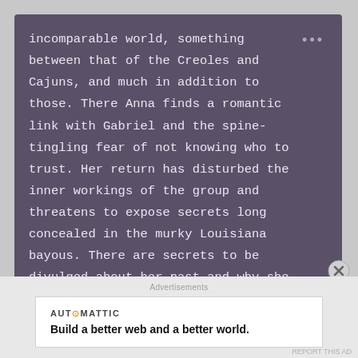incomparable world, something between that of the Creoles and Cajuns, and much in addition to those. There Anna finds a romantic link with Gabriel and the spine-tingling fear of not knowing who to trust. Her return has disturbed the inner workings of the group and threatens to expose secrets long concealed in the murky Louisiana bayous. There are secrets to be divulged about her past and why she was spirited away as an infant. Anna isn't safe until she discovers the
Advertisements
AUTOMATTIC
Build a better web and a better world.